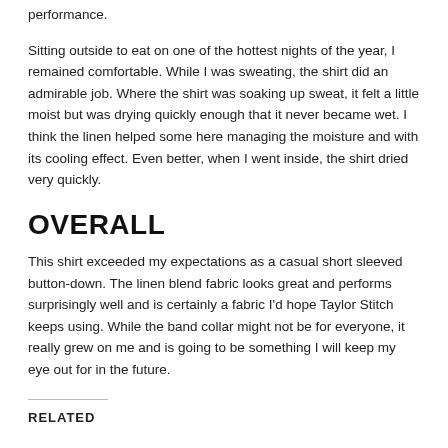performance.
Sitting outside to eat on one of the hottest nights of the year, I remained comfortable. While I was sweating, the shirt did an admirable job. Where the shirt was soaking up sweat, it felt a little moist but was drying quickly enough that it never became wet. I think the linen helped some here managing the moisture and with its cooling effect. Even better, when I went inside, the shirt dried very quickly.
OVERALL
This shirt exceeded my expectations as a casual short sleeved button-down. The linen blend fabric looks great and performs surprisingly well and is certainly a fabric I'd hope Taylor Stitch keeps using. While the band collar might not be for everyone, it really grew on me and is going to be something I will keep my eye out for in the future.
RELATED